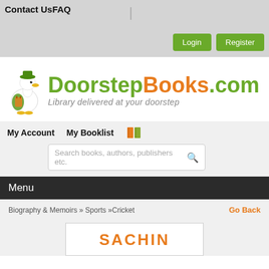Contact Us  FAQ
[Figure (logo): DoorstepBooks.com logo with duck mascot and tagline 'Library delivered at your doorstep']
My Account   My Booklist
Search books, authors, publishers etc.
Menu
Biography & Memoirs » Sports »Cricket
Go Back
SACHIN